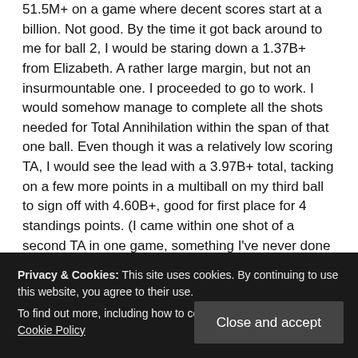51.5M+ on a game where decent scores start at a billion. Not good. By the time it got back around to me for ball 2, I would be staring down a 1.37B+ from Elizabeth. A rather large margin, but not an insurmountable one. I proceeded to go to work. I would somehow manage to complete all the shots needed for Total Annihilation within the span of that one ball. Even though it was a relatively low scoring TA, I would see the lead with a 3.97B+ total, tacking on a few more points in a multiball on my third ball to sign off with 4.60B+, good for first place for 4 standings points. (I came within one shot of a second TA in one game, something I've never done on a real AFM machine that I can remember.)
My game on Star Wars was overall relatively low scoring...
John can't advance and Elizabeth would need first place and...
Privacy & Cookies: This site uses cookies. By continuing to use this website, you agree to their use. To find out more, including how to control cookies, see here: Cookie Policy